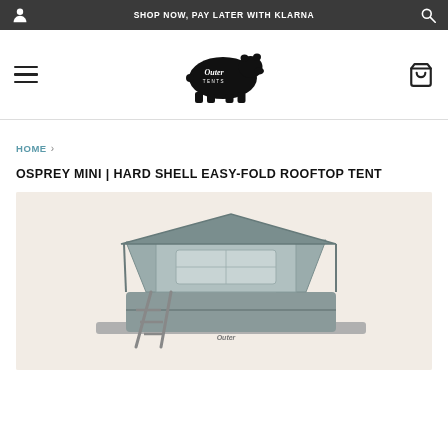SHOP NOW, PAY LATER WITH KLARNA
[Figure (logo): Outer Tents logo: black bear silhouette with 'Outer Tents' text inside]
HOME ›
OSPREY MINI | HARD SHELL EASY-FOLD ROOFTOP TENT
[Figure (photo): Rooftop tent (Osprey Mini hard shell) open and mounted on a vehicle roof, shown against a light beige/cream background]